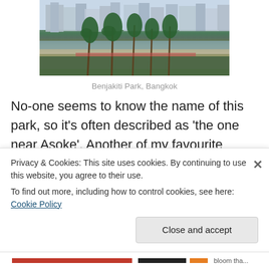[Figure (photo): Photo of Benjakiti Park in Bangkok showing palm trees, a lake, and skyscrapers in the background]
Benjakiti Park, Bangkok
No-one seems to know the name of this park, so it's often described as 'the one near Asoke'. Another of my favourite parks, Benjakiti has a smooth 1.8km oval track that runs around the lake in the middle of the park. It's not as shaded as Lumphini, but with a backdrop of lit up
Privacy & Cookies: This site uses cookies. By continuing to use this website, you agree to their use.
To find out more, including how to control cookies, see here: Cookie Policy
Close and accept